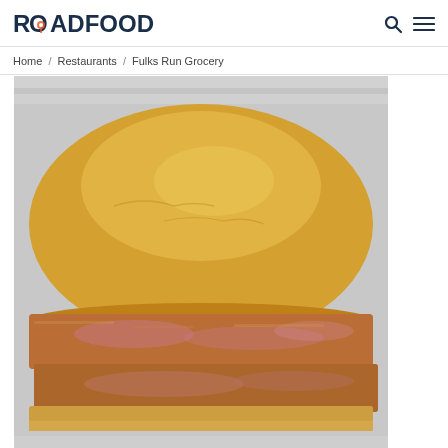ROADFOOD
Home / Restaurants / Fulks Run Grocery
[Figure (photo): Close-up photo of a sandwich with a golden-brown hamburger bun on top and what appears to be a breaded fried meat patty (bologna or pork) with a pink/red color, sitting on foil, partially cropped at the bottom of the image.]